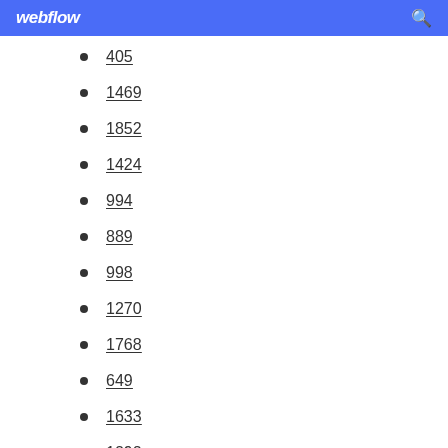webflow
405
1469
1852
1424
994
889
998
1270
1768
649
1633
1292